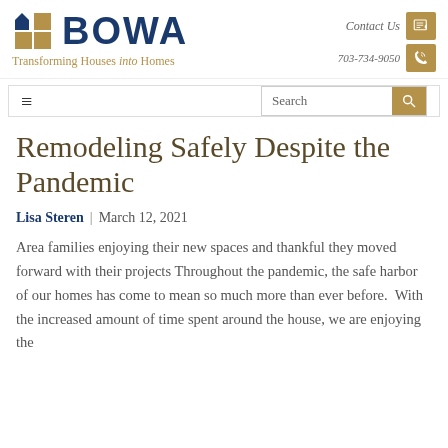[Figure (logo): BOWA logo with house and grid icon, tagline: Transforming Houses into Homes]
Contact Us
703-734-9050
≡  Search
Remodeling Safely Despite the Pandemic
Lisa Steren | March 12, 2021
Area families enjoying their new spaces and thankful they moved forward with their projects Throughout the pandemic, the safe harbor of our homes has come to mean so much more than ever before.  With the increased amount of time spent around the house, we are enjoying the